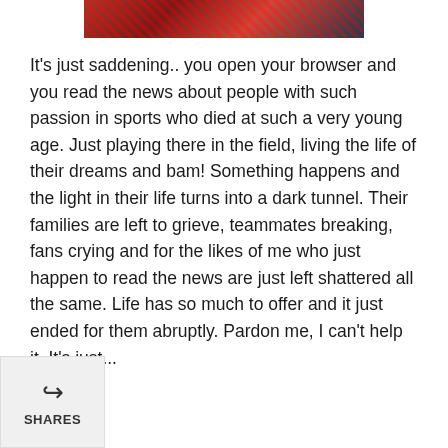[Figure (photo): Partial photo at top, appears to show Spider-Man costume in red tones]
It's just saddening.. you open your browser and you read the news about people with such passion in sports who died at such a very young age. Just playing there in the field, living the life of their dreams and bam! Something happens and the light in their life turns into a dark tunnel. Their families are left to grieve, teammates breaking, fans crying and for the likes of me who just happen to read the news are just left shattered all the same. Life has so much to offer and it just ended for them abruptly. Pardon me, I can't help it. It's just...
[Figure (photo): Photo of a person with dark hair, showing top of head and eyes, partially obscured]
SHARES